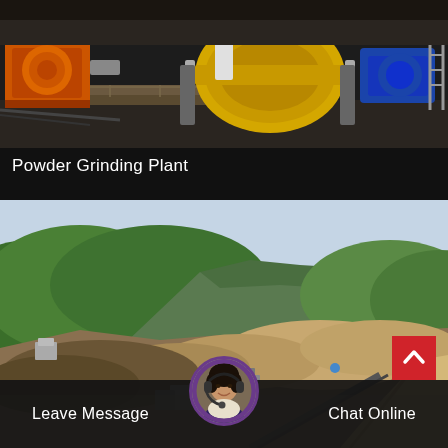[Figure (photo): Industrial powder grinding plant equipment — orange crusher machine on the left, large yellow cylindrical drum/roller in the center, blue motor on the right, set in a workshop/factory floor with wooden pallets and construction debris]
Powder Grinding Plant
[Figure (photo): Aerial view of a large open-pit quarry/mining site with green hills in the background, earth mounds, conveyor belts, and processing facility buildings in a valley]
[Figure (other): Customer service avatar — woman wearing headset, round portrait within purple-bordered circle]
Leave Message
Chat Online